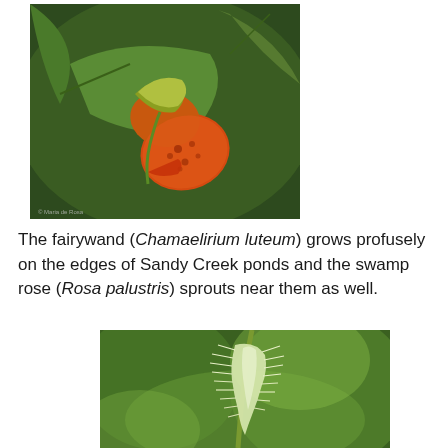[Figure (photo): Close-up photograph of an orange spotted flower (jewelweed/touch-me-not) against large green leaves background, with a small watermark credit at the bottom left corner.]
The fairywand (Chamaelirium luteum) grows profusely on the edges of Sandy Creek ponds and the swamp rose (Rosa palustris) sprouts near them as well.
[Figure (photo): Close-up photograph of a white feathery catkin or flower spike (fairywand / Chamaelirium luteum) against a blurred green background.]